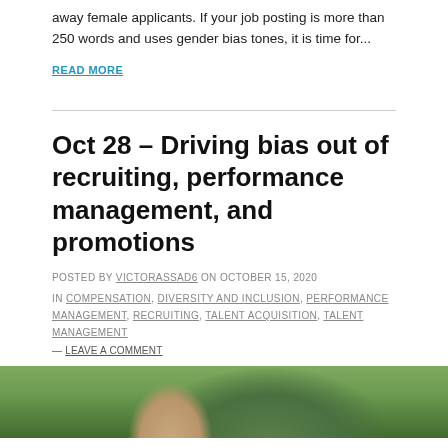away female applicants. If your job posting is more than 250 words and uses gender bias tones, it is time for...
READ MORE
Oct 28 – Driving bias out of recruiting, performance management, and promotions
POSTED BY VICTORASSAD6 ON OCTOBER 15, 2020
IN COMPENSATION, DIVERSITY AND INCLUSION, PERFORMANCE MANAGEMENT, RECRUITING, TALENT ACQUISITION, TALENT MANAGEMENT
— LEAVE A COMMENT
[Figure (photo): Partial photo showing a person outdoors with greenery/trees in background, cropped at bottom of page]